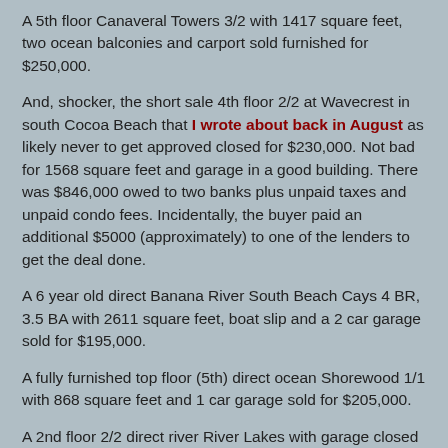A 5th floor Canaveral Towers 3/2 with 1417 square feet, two ocean balconies and carport sold furnished for $250,000.
And, shocker, the short sale 4th floor 2/2 at Wavecrest in south Cocoa Beach that I wrote about back in August as likely never to get approved closed for $230,000. Not bad for 1568 square feet and garage in a good building. There was $846,000 owed to two banks plus unpaid taxes and unpaid condo fees. Incidentally, the buyer paid an additional $5000 (approximately) to one of the lenders to get the deal done.
A 6 year old direct Banana River South Beach Cays 4 BR, 3.5 BA with 2611 square feet, boat slip and a 2 car garage sold for $195,000.
A fully furnished top floor (5th) direct ocean Shorewood 1/1 with 868 square feet and 1 car garage sold for $205,000.
A 2nd floor 2/2 direct river River Lakes with garage closed for $153,000.
A direct Banana River 4th floor Harbor Isles 2/2 with 1308